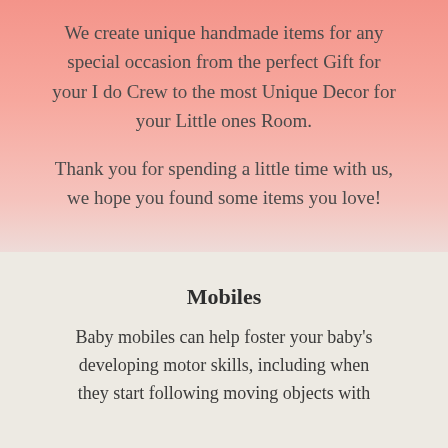We create unique handmade items for any special occasion from the perfect Gift for your I do Crew to the most Unique Decor for your Little ones Room.
Thank you for spending a little time with us, we hope you found some items you love!
Mobiles
Baby mobiles can help foster your baby's developing motor skills, including when they start following moving objects with